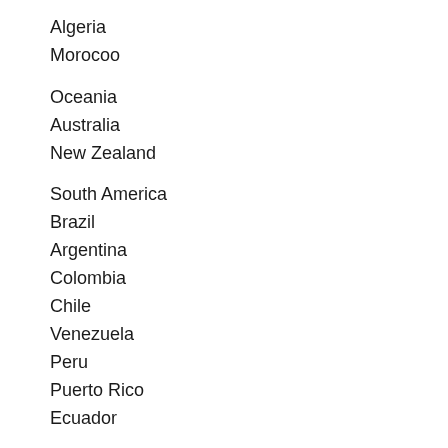Algeria
Morocoo
Oceania
Australia
New Zealand
South America
Brazil
Argentina
Colombia
Chile
Venezuela
Peru
Puerto Rico
Ecuador
Rest of the World
Kazakhstan